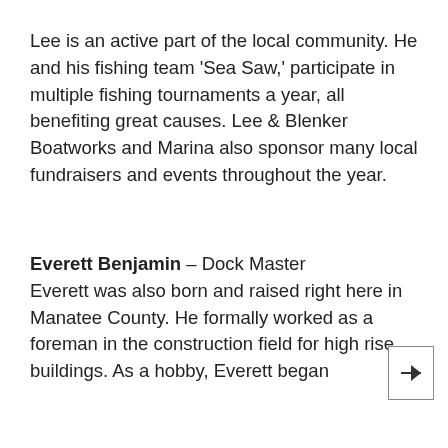Lee is an active part of the local community. He and his fishing team 'Sea Saw,' participate in multiple fishing tournaments a year, all benefiting great causes. Lee & Blenker Boatworks and Marina also sponsor many local fundraisers and events throughout the year.
Everett Benjamin – Dock Master
Everett was also born and raised right here in Manatee County. He formally worked as a foreman in the construction field for high rise buildings. As a hobby, Everett began